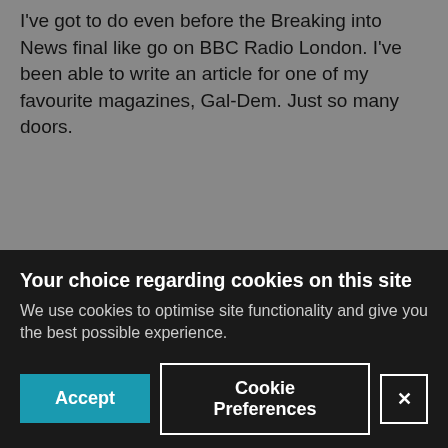I've got to do even before the Breaking into News final like go on BBC Radio London. I've been able to write an article for one of my favourite magazines, Gal-Dem. Just so many doors.
Honestly, it's been said so many times before but what have you got to lose? You have everything to gain. It's opened so many doors.
Your choice regarding cookies on this site
We use cookies to optimise site functionality and give you the best possible experience.